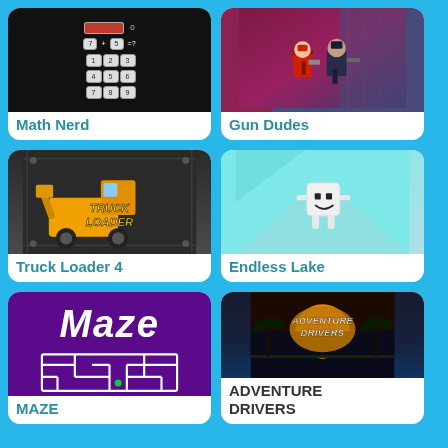[Figure (screenshot): Math Nerd game thumbnail showing a black background with a math equation 7+5=? and a numeric keypad grid]
Math Nerd
[Figure (screenshot): Gun Dudes game thumbnail showing pixel art characters on a dark pink/purple sci-fi background]
Gun Dudes
[Figure (screenshot): Truck Loader 4 game thumbnail showing a yellow loader truck on a dark industrial background with the text TRUCK LOADER]
Truck Loader 4
[Figure (screenshot): Endless Lake game thumbnail showing a white cubic character on a teal/light blue background]
Endless Lake
[Figure (screenshot): Maze game thumbnail showing purple background with large white italic MAZE text and a maze pattern below]
MAZE
[Figure (screenshot): Adventure Drivers game thumbnail showing a sunset with palm trees and the Adventure Drivers logo]
ADVENTURE DRIVERS